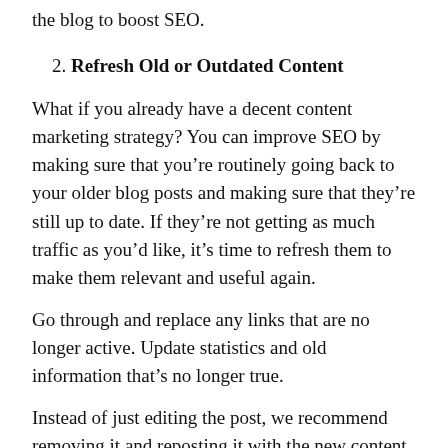the blog to boost SEO.
2. Refresh Old or Outdated Content
What if you already have a decent content marketing strategy? You can improve SEO by making sure that you’re routinely going back to your older blog posts and making sure that they’re still up to date. If they’re not getting as much traffic as you’d like, it’s time to refresh them to make them relevant and useful again.
Go through and replace any links that are no longer active. Update statistics and old information that’s no longer true.
Instead of just editing the post, we recommend removing it and reposting it with the new content. You can adjust the wording somewhat to keep it fresh.